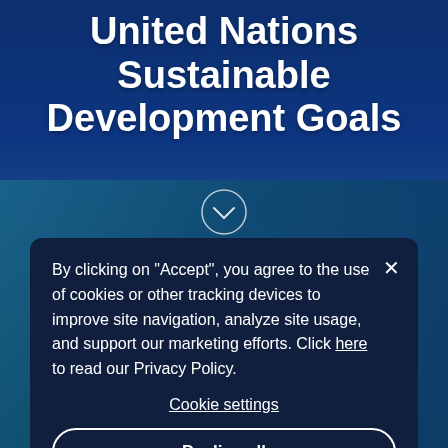United Nations Sustainable Development Goals
[Figure (illustration): Chevron/arrow down icon inside a circle, white outline on dark blue background]
By clicking on "Accept", you agree to the use of cookies or other tracking devices to improve site navigation, analyze site usage, and support our marketing efforts. Click here to read our Privacy Policy.
Cookie settings
Decline all
Accept all